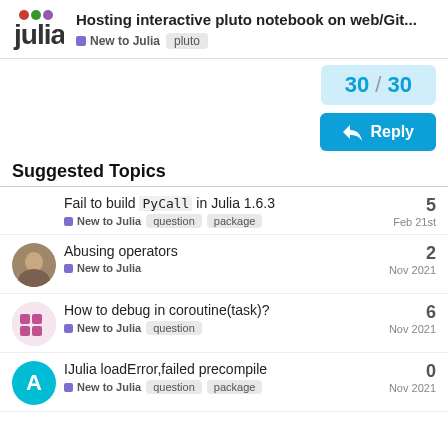Hosting interactive pluto notebook on web/Git... | New to Julia | pluto
30 / 30
Reply
Suggested Topics
Fail to build `PyCall` in Julia 1.6.3 | New to Julia | question | package | 5 | Feb 21st
Abusing operators | New to Julia | 2 | Nov 2021
How to debug in coroutine(task)? | New to Julia | question | 6 | Nov 2021
IJulia loadError,failed precompile | New to Julia | question | package | 0 | Nov 2021